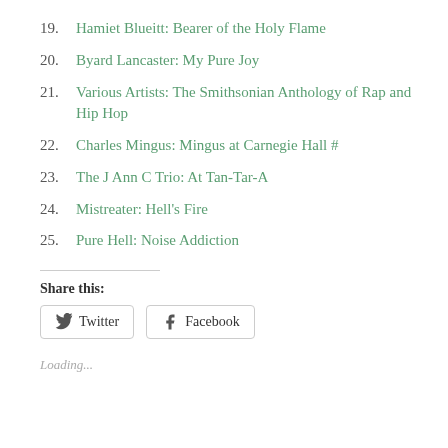19. Hamiet Blueitt: Bearer of the Holy Flame
20. Byard Lancaster: My Pure Joy
21. Various Artists: The Smithsonian Anthology of Rap and Hip Hop
22. Charles Mingus: Mingus at Carnegie Hall #
23. The J Ann C Trio: At Tan-Tar-A
24. Mistreater: Hell's Fire
25. Pure Hell: Noise Addiction
Share this:
Twitter  Facebook
Loading...